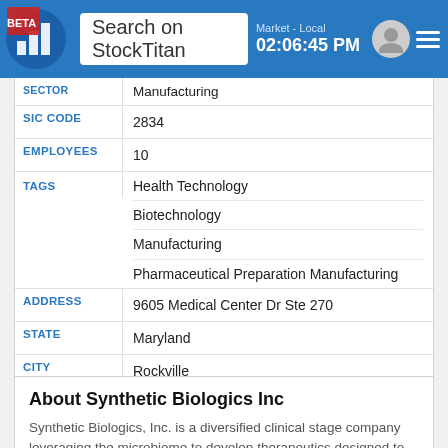Search on StockTitan | Market - Local 02:06:45 PM
| Field | Value |
| --- | --- |
| SECTOR | Manufacturing |
| SIC CODE | 2834 |
| EMPLOYEES | 10 |
| TAGS | Health Technology
Biotechnology
Manufacturing
Pharmaceutical Preparation Manufacturing |
| ADDRESS | 9605 Medical Center Dr Ste 270 |
| STATE | Maryland |
| CITY | Rockville |
| ZIP | 20850-6382 |
| COUNTRY | US |
| PHONE | 17343327800 |
About Synthetic Biologics Inc
Synthetic Biologics, Inc. is a diversified clinical stage company leveraging the microbiome to develop therapeutics designed to prevent and treat gastrointestinal (GI) diseases in areas of high